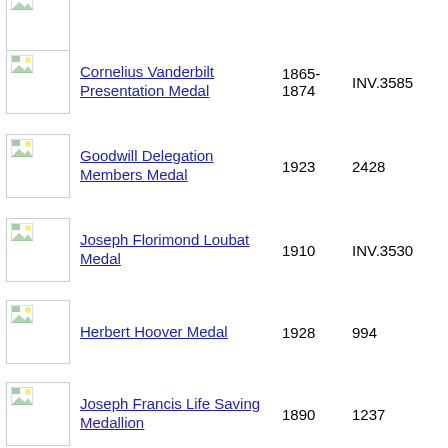[Figure (photo): Thumbnail image placeholder (broken image icon) - first row, partial]
Cornelius Vanderbilt Presentation Medal  1865-1874  INV.3585
Goodwill Delegation Members Medal  1923  2428
Joseph Florimond Loubat Medal  1910  INV.3530
Herbert Hoover Medal  1928  994
Joseph Francis Life Saving Medallion  1890  1237
Fulton Trust Company Plaquette  1915  INV.3544